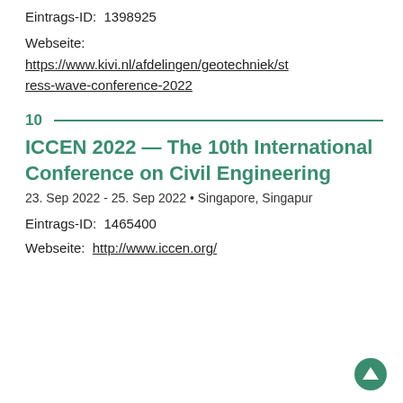Eintrags-ID:  1398925
Webseite:
https://www.kivi.nl/afdelingen/geotechniek/stress-wave-conference-2022
10
ICCEN 2022 — The 10th International Conference on Civil Engineering
23. Sep 2022 - 25. Sep 2022 • Singapore, Singapur
Eintrags-ID:  1465400
Webseite:  http://www.iccen.org/